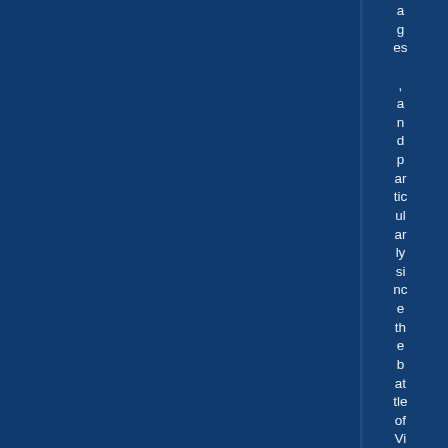ages, and particularly since the battle of Vienna in 16